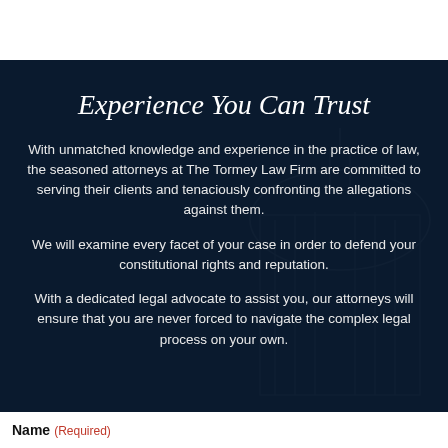Experience You Can Trust
With unmatched knowledge and experience in the practice of law, the seasoned attorneys at The Tormey Law Firm are committed to serving their clients and tenaciously confronting the allegations against them.
We will examine every facet of your case in order to defend your constitutional rights and reputation.
With a dedicated legal advocate to assist you, our attorneys will ensure that you are never forced to navigate the complex legal process on your own.
Name (Required)